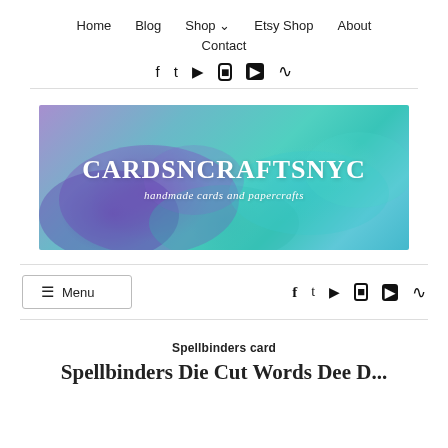Home  Blog  Shop ▾  Etsy Shop  About  Contact
[Figure (other): Social media icons: Facebook, Twitter, Pinterest, Instagram, YouTube, RSS]
[Figure (illustration): Banner image with watercolor background in blue, teal, and purple. Large white bold text reads CARDSNCRAFTSNYC with italic subtitle handmade cards and papercrafts]
☰ Menu
[Figure (other): Social media icons row: Facebook, Twitter, Pinterest, Instagram, YouTube, RSS]
Spellbinders card
Spellbinders Die Cut Words Dee D...